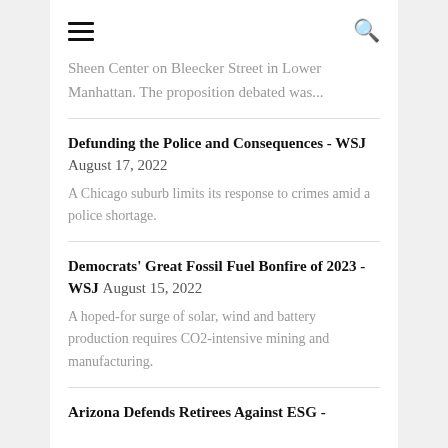≡  🔍
Sheen Center on Bleecker Street in Lower Manhattan. The proposition debated was...
Defunding the Police and Consequences - WSJ August 17, 2022
A Chicago suburb limits its response to crimes amid a police shortage.
Democrats' Great Fossil Fuel Bonfire of 2023 - WSJ August 15, 2022
A hoped-for surge of solar, wind and battery production requires CO2-intensive mining and manufacturing.
Arizona Defends Retirees Against ESG -